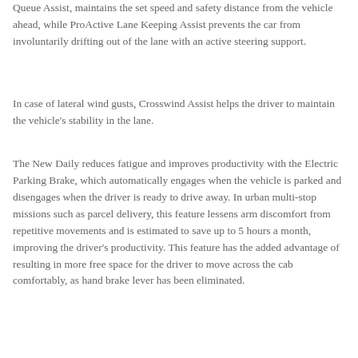Queue Assist, maintains the set speed and safety distance from the vehicle ahead, while ProActive Lane Keeping Assist prevents the car from involuntarily drifting out of the lane with an active steering support.
In case of lateral wind gusts, Crosswind Assist helps the driver to maintain the vehicle's stability in the lane.
The New Daily reduces fatigue and improves productivity with the Electric Parking Brake, which automatically engages when the vehicle is parked and disengages when the driver is ready to drive away. In urban multi-stop missions such as parcel delivery, this feature lessens arm discomfort from repetitive movements and is estimated to save up to 5 hours a month, improving the driver's productivity. This feature has the added advantage of resulting in more free space for the driver to move across the cab comfortably, as hand brake lever has been eliminated.